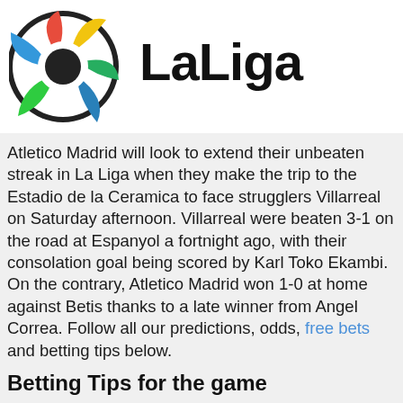[Figure (logo): LaLiga logo with colorful circular emblem and bold LaLiga text]
Atletico Madrid will look to extend their unbeaten streak in La Liga when they make the trip to the Estadio de la Ceramica to face strugglers Villarreal on Saturday afternoon. Villarreal were beaten 3-1 on the road at Espanyol a fortnight ago, with their consolation goal being scored by Karl Toko Ekambi. On the contrary, Atletico Madrid won 1-0 at home against Betis thanks to a late winner from Angel Correa. Follow all our predictions, odds, free bets and betting tips below.
Betting Tips for the game
Villarreal managed to win just two of their ten